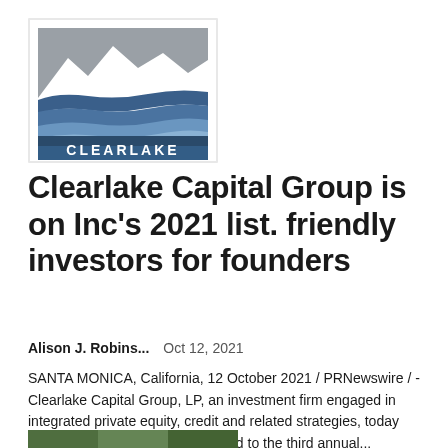[Figure (logo): Clearlake Capital Group logo: square with mountain silhouette at top and stylized blue water waves below, with 'CLEARLAKE' text in white at bottom]
Clearlake Capital Group is on Inc's 2021 list. friendly investors for founders
Alison J. Robins...   Oct 12, 2021
SANTA MONICA, California, 12 October 2021 / PRNewswire / - Clearlake Capital Group, LP, an investment firm engaged in integrated private equity, credit and related strategies, today announced that it has been named to the third annual...
[Figure (photo): Thumbnail photo of outdoor scenery, partially visible at the bottom of the page]